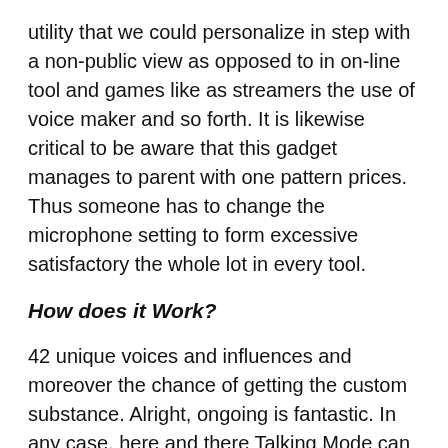utility that we could personalize in step with a non-public view as opposed to in on-line tool and games like as streamers the use of voice maker and so forth. It is likewise critical to be aware that this gadget manages to parent with one pattern prices. Thus someone has to change the microphone setting to form excessive satisfactory the whole lot in every tool.
How does it Work?
42 unique voices and influences and moreover the chance of getting the custom substance. Alright, ongoing is fantastic. In any case, here and there Talking Mode can be a selection. Modern 20 minutes of performance and moreover an excellent time for your customers. Voicemod Pro Crack will assist you to adjust